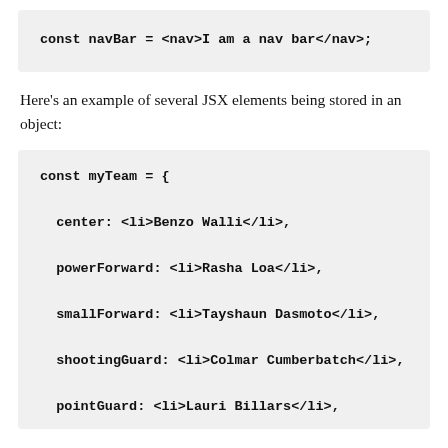const navBar = <nav>I am a nav bar</nav>;
Here's an example of several JSX elements being stored in an object:
const myTeam = {

  center: <li>Benzo Walli</li>,

  powerForward: <li>Rasha Loa</li>,

  smallForward: <li>Tayshaun Dasmoto</li>,

  shootingGuard: <li>Colmar Cumberbatch</li>,

  pointGuard: <li>Lauri Billars</li>,